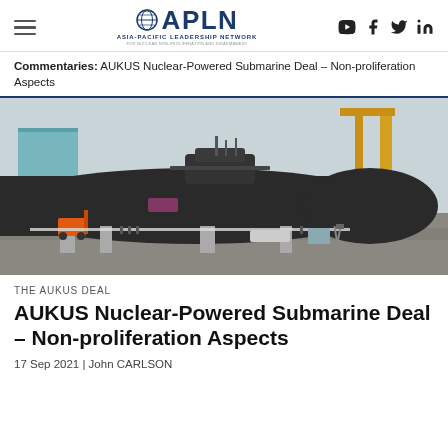APLN – Asia-Pacific Leadership Network
Commentaries: AUKUS Nuclear-Powered Submarine Deal – Non-proliferation Aspects
[Figure (photo): Large black nuclear-powered submarine on dry dock/shipyard with orange forklift, workers, crane structures visible in background, overcast sky]
THE AUKUS DEAL
AUKUS Nuclear-Powered Submarine Deal – Non-proliferation Aspects
17 Sep 2021 | John CARLSON